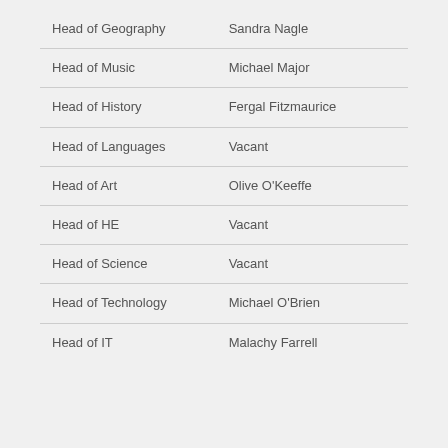| Role | Name |
| --- | --- |
| Head of Geography | Sandra Nagle |
| Head of Music | Michael Major |
| Head of History | Fergal Fitzmaurice |
| Head of Languages | Vacant |
| Head of Art | Olive O'Keeffe |
| Head of HE | Vacant |
| Head of Science | Vacant |
| Head of Technology | Michael O'Brien |
| Head of IT | Malachy Farrell |